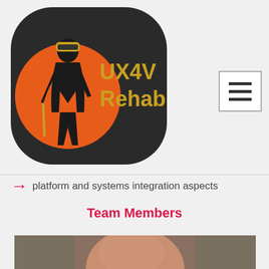[Figure (logo): UX4V Rehab logo: dark rounded pill shape with orange circle and silhouette of a person holding a rehab tool, text 'UX4V Rehab' in gold/orange]
platform and systems integration aspects
Team Members
[Figure (photo): Close-up headshot of a bald man, neutral expression, against a gray background]